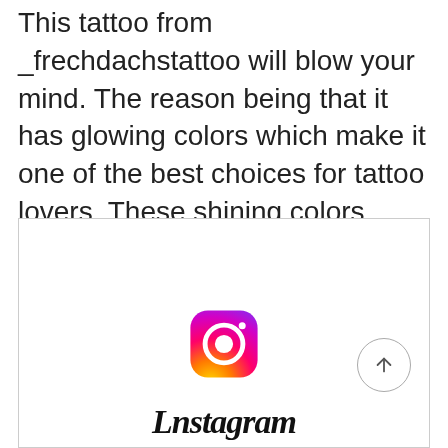This tattoo from _frechdachstattoo will blow your mind. The reason being that it has glowing colors which make it one of the best choices for tattoo lovers. These shining colors immediately capture the attention of the viewers. The use of green, purple, yellow, red, orange, and black colors adds to the overall beauty.
[Figure (screenshot): An Instagram post/embed area showing an Instagram logo icon in the center, a back-to-top arrow button on the right, and stylized script text at the bottom reading 'Instagram']